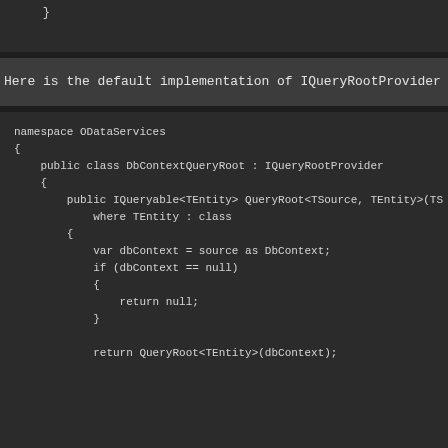}
Here is the default implementation of IQueryRootProvider for DbContext
namespace ODataServices
{
    public class DbContextQueryRoot : IQueryRootProvider
    {
        public IQueryable<TEntity> QueryRoot<TSource, TEntity>(TS
            where TEntity : class
        {
            var dbContext = source as DbContext;
            if (dbContext == null)
            {
                return null;
            }

            return QueryRoot<TEntity>(dbContext);
        ...